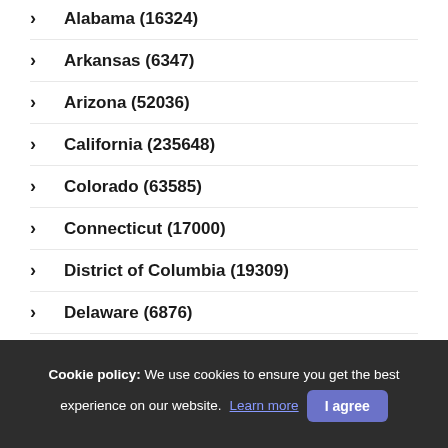Alabama (16324)
Arkansas (6347)
Arizona (52036)
California (235648)
Colorado (63585)
Connecticut (17000)
District of Columbia (19309)
Delaware (6876)
Florida (102966)
Cookie policy: We use cookies to ensure you get the best experience on our website. Learn more  I agree